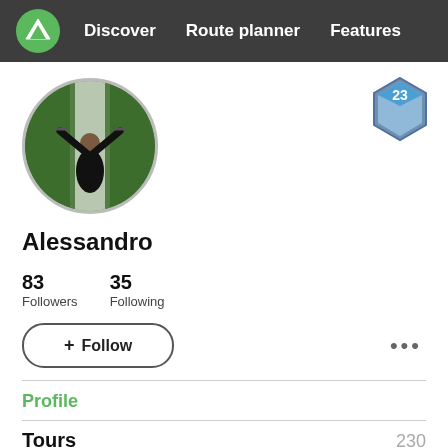Discover  Route planner  Features
[Figure (photo): Circular profile photo of a person (Alessandro) with arms raised outdoors on a tree-lined path]
[Figure (other): Hexagonal badge with number 23 in blue and silver colors]
Alessandro
83 Followers  35 Following
+ Follow
Profile
Tours  230